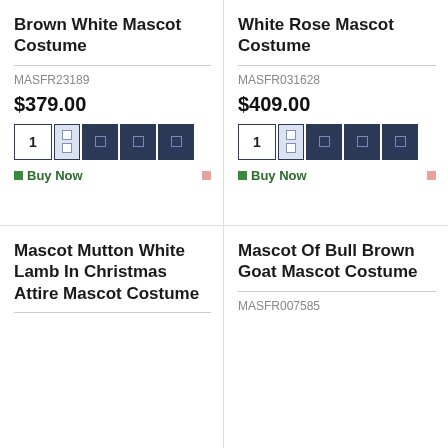Brown White Mascot Costume
MASFR23189
$379.00
Buy Now
White Rose Mascot Costume
MASFR031628
$409.00
Buy Now
Mascot Mutton White Lamb In Christmas Attire Mascot Costume
Mascot Of Bull Brown Goat Mascot Costume
MASFR007585